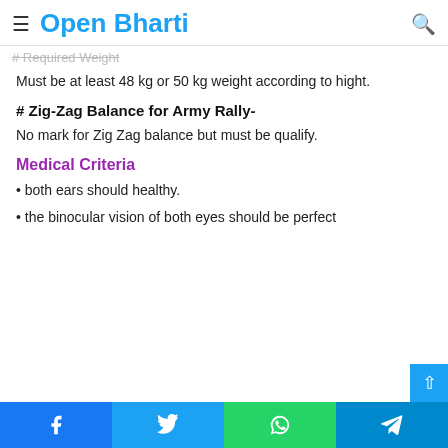Open Bharti
# Required Weight
Must be at least 48 kg or 50 kg weight according to hight.
# Zig-Zag Balance for Army Rally-
No mark for Zig Zag balance but must be qualify.
Medical Criteria
• both ears should healthy.
• the binocular vision of both eyes should be perfect